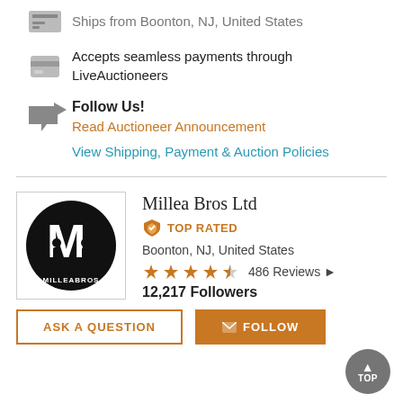Ships from Boonton, NJ, United States
Accepts seamless payments through LiveAuctioneers
Follow Us!
Read Auctioneer Announcement
View Shipping, Payment & Auction Policies
Millea Bros Ltd
TOP RATED
Boonton, NJ, United States
486 Reviews
12,217 Followers
ASK A QUESTION
FOLLOW